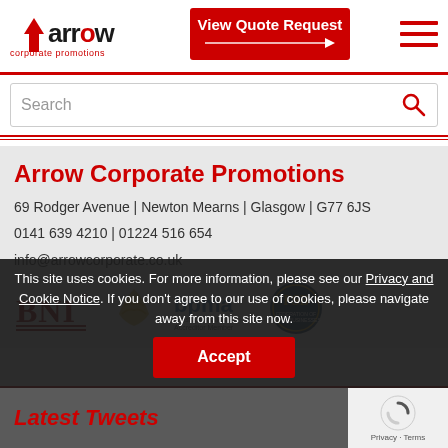[Figure (logo): Arrow Corporate Promotions logo with red drop/arrow icon and text]
[Figure (other): Red 'View Quote Request' button with arrow]
[Figure (other): Hamburger menu icon (three red horizontal lines)]
Search
Arrow Corporate Promotions
69 Rodger Avenue | Newton Mearns | Glasgow | G77 6JS
0141 639 4210 | 01224 516 654
info@arrowcorporate.co.uk
[Figure (logo): BNI logo]
[Figure (logo): bpma British Promotional Merchandise Association logo]
[Figure (logo): FSB Federation of Small Businesses logo]
This site uses cookies. For more information, please see our Privacy and Cookie Notice. If you don't agree to our use of cookies, please navigate away from this site now.
Accept
Latest Tweets